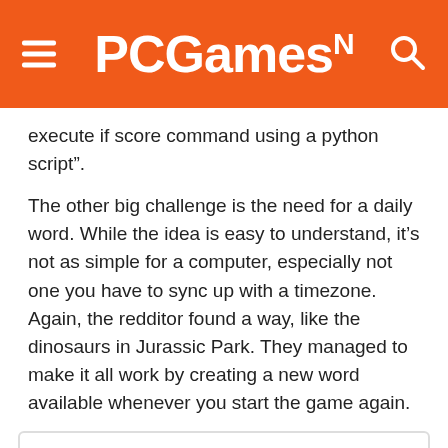PCGamesN
execute if score command using a python script”.
The other big challenge is the need for a daily word. While the idea is easy to understand, it’s not as simple for a computer, especially not one you have to sync up with a timezone. Again, the redditor found a way, like the dinosaurs in Jurassic Park. They managed to make it all work by creating a new word available whenever you start the game again.
I recreated a fully functional wordle in vanilla minecraft!
[Figure (screenshot): Screenshot of Wordle recreated in Minecraft showing a sky background with a bar/toolbar element]